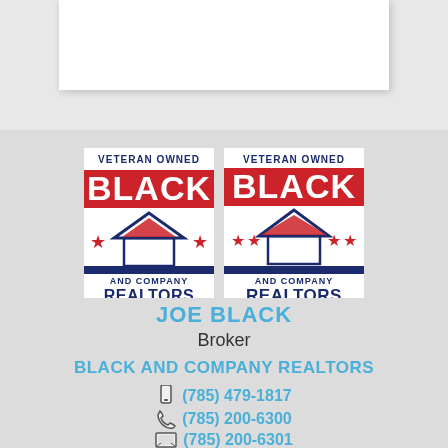[Figure (logo): Black and Company Realtors logo (left, partially cropped) - Veteran Owned, with house graphic and stars]
[Figure (logo): Black and Company Realtors logo (right, full) - Veteran Owned, with house graphic and stars]
JOE BLACK
Broker
BLACK AND COMPANY REALTORS
(785) 479-1817
(785) 200-6300
(785) 200-6301